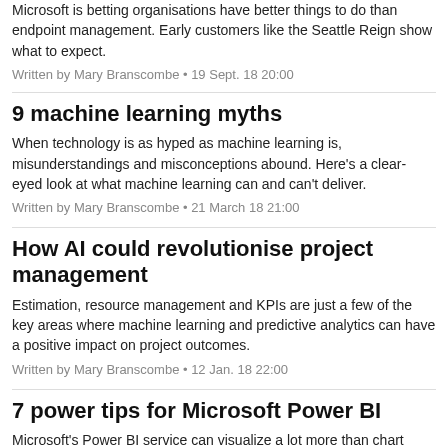Microsoft is betting organisations have better things to do than endpoint management. Early customers like the Seattle Reign show what to expect.
Written by Mary Branscombe • 19 Sept. 18 20:00
9 machine learning myths
When technology is as hyped as machine learning is, misunderstandings and misconceptions abound. Here's a clear-eyed look at what machine learning can and can't deliver.
Written by Mary Branscombe • 21 March 18 21:00
How AI could revolutionise project management
Estimation, resource management and KPIs are just a few of the key areas where machine learning and predictive analytics can have a positive impact on project outcomes.
Written by Mary Branscombe • 12 Jan. 18 22:00
7 power tips for Microsoft Power BI
Microsoft's Power BI service can visualize a lot more than chart data: